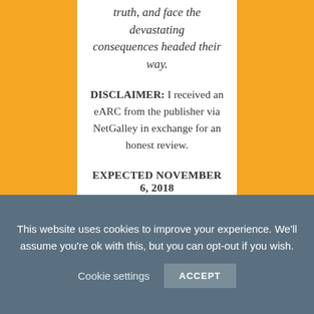truth, and face the devastating consequences headed their way.
DISCLAIMER: I received an eARC from the publisher via NetGalley in exchange for an honest review.
EXPECTED NOVEMBER 6, 2018
4 STARS
TW: PTSD, hallucinations, death and violence of war, terminal illness,
This website uses cookies to improve your experience. We'll assume you're ok with this, but you can opt-out if you wish.
Cookie settings  ACCEPT